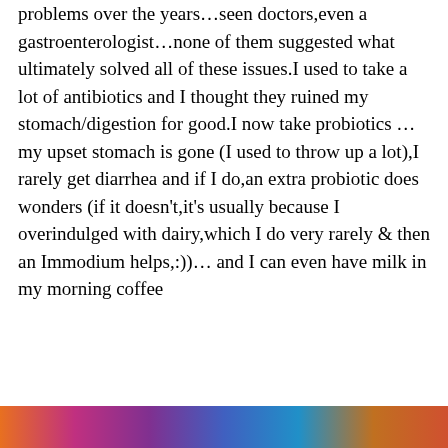problems over the years...seen doctors,even a gastroenterologist…none of them suggested what ultimately solved all of these issues.I used to take a lot of antibiotics and I thought they ruined my stomach/digestion for good.I now take probiotics …my upset stomach is gone (I used to throw up a lot),I rarely get diarrhea and if I do,an extra probiotic does wonders (if it doesn't,it's usually because I overindulged with dairy,which I do very rarely & then an Immodium helps,:))… and I can even have milk in my morning coffee
Privacy & Cookies: This site uses cookies. By continuing to use this website, you agree to their use.
To find out more, including how to control cookies, see here: Cookie Policy
Close and accept